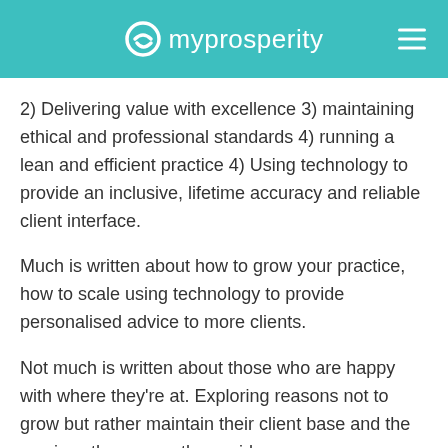myprosperity
2) Delivering value with excellence 3) maintaining ethical and professional standards 4) running a lean and efficient practice 4) Using technology to provide an inclusive, lifetime accuracy and reliable client interface.
Much is written about how to grow your practice, how to scale using technology to provide personalised advice to more clients.
Not much is written about those who are happy with where they're at. Exploring reasons not to grow but rather maintain their client base and the services they currently provide.
That's what Integral Private Wealth's Director,